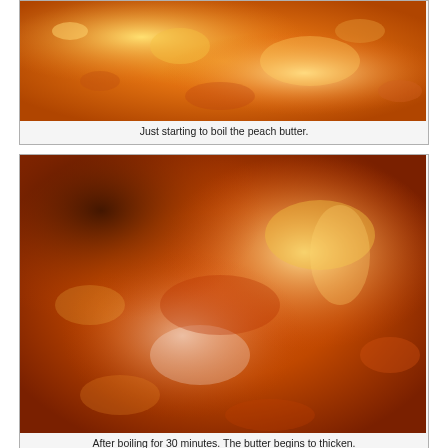[Figure (photo): Close-up photo of boiling peach butter in a pot, orange-amber color, just starting to boil.]
Just starting to boil the peach butter.
[Figure (photo): Close-up photo of peach butter after boiling for 30 minutes, thicker consistency, darker orange with bubbling surface.]
After boiling for 30 minutes. The butter begins to thicken.
[Figure (photo): Close-up photo of peach butter at a later stage, darker more brownish tone, thick and bubbling.]